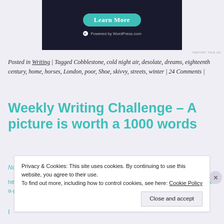[Figure (screenshot): Dark advertisement banner with 'Learn More' teal button and 'Powered by WordPress.com' text]
Posted in Writing | Tagged Cobblestone, cold night air, desolate, dreams, eighteenth century, home, horses, London, poor, Shoe, skivvy, streets, winter | 24 Comments |
Weekly Writing Challenge – A picture is worth a 1000 words
November 7, 2012 by ramblingsfromamum
https://ramblingsfromamum.wordpress.com/2012/11/07/weekly-writing-challenge-a-picture-is-worth-1000-words/
Privacy & Cookies: This site uses cookies. By continuing to use this website, you agree to their use. To find out more, including how to control cookies, see here: Cookie Policy
Close and accept